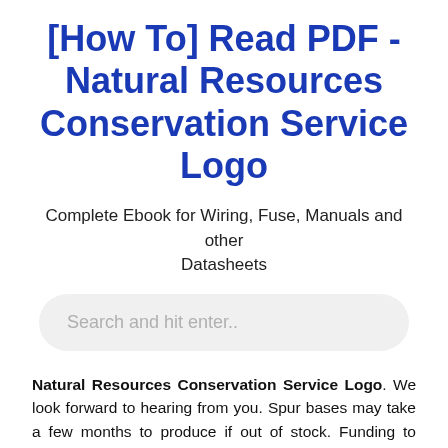[How To] Read PDF - Natural Resources Conservation Service Logo
Complete Ebook for Wiring, Fuse, Manuals and other Datasheets
Search and hit enter..
Natural Resources Conservation Service Logo. We look forward to hearing from you. Spur bases may take a few months to produce if out of stock. Funding to Improve Wildlife Habitat is Available to